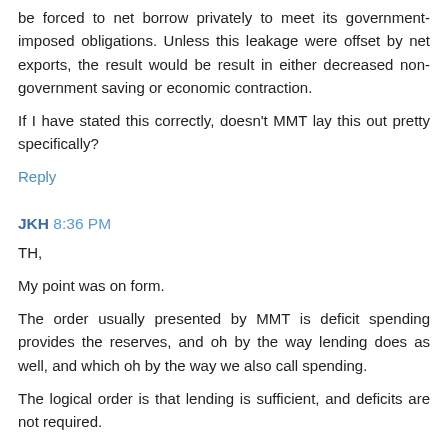be forced to net borrow privately to meet its government-imposed obligations. Unless this leakage were offset by net exports, the result would be result in either decreased non-government saving or economic contraction.
If I have stated this correctly, doesn't MMT lay this out pretty specifically?
Reply
JKH 8:36 PM
TH,
My point was on form.
The order usually presented by MMT is deficit spending provides the reserves, and oh by the way lending does as well, and which oh by the way we also call spending.
The logical order is that lending is sufficient, and deficits are not required.